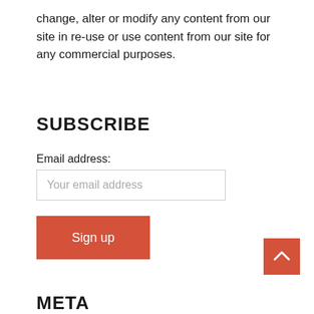change, alter or modify any content from our site in re-use or use content from our site for any commercial purposes.
SUBSCRIBE
Email address:
Your email address
Sign up
META